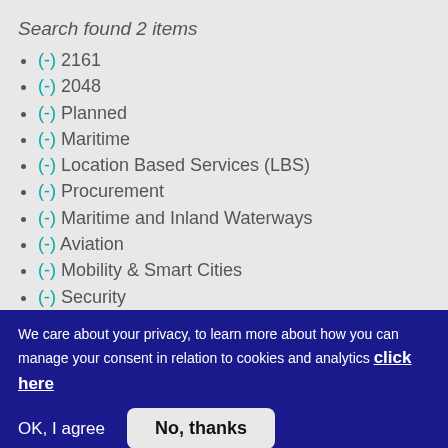Search found 2 items
(-) 2161
(-) 2048
(-) Planned
(-) Maritime
(-) Location Based Services (LBS)
(-) Procurement
(-) Maritime and Inland Waterways
(-) Aviation
(-) Mobility & Smart Cities
(-) Security
(-) Other professional applications
We care about your privacy, to learn more about how you can manage your consent in relation to cookies and analytics click here
OK, I agree    No, thanks